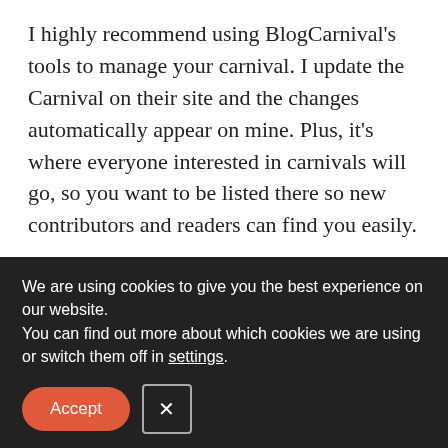I highly recommend using BlogCarnival's tools to manage your carnival. I update the Carnival on their site and the changes automatically appear on mine. Plus, it's where everyone interested in carnivals will go, so you want to be listed there so new contributors and readers can find you easily.
2. Give your carnival its own feed. If your carnival will move around to other blogs, readers will easily lose track of it. I created a Carnival of Nonprofit Consultants category within my blog and when
We are using cookies to give you the best experience on our website.
You can find out more about which cookies we are using or switch them off in settings.